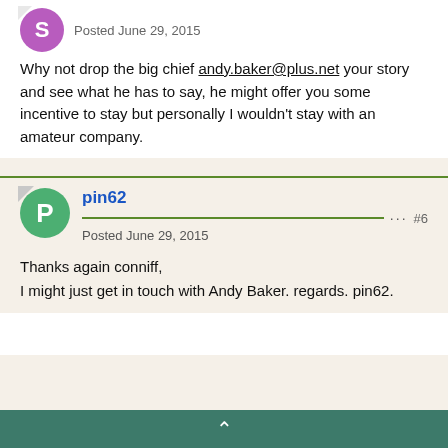Posted June 29, 2015
Why not drop the big chief andy.baker@plus.net your story and see what he has to say, he might offer you some incentive to stay but personally I wouldn't stay with an amateur company.
pin62
Posted June 29, 2015
#6
Thanks again conniff,
I might just get in touch with Andy Baker. regards. pin62.